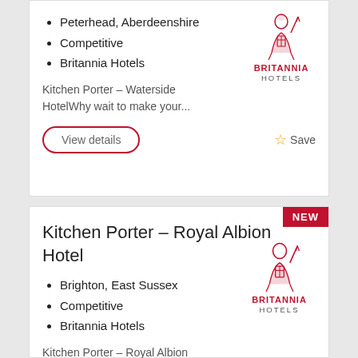Peterhead, Aberdeenshire
Competitive
Britannia Hotels
[Figure (logo): Britannia Hotels logo — red figure with cross, text BRITANNIA HOTELS]
Kitchen Porter – Waterside HotelWhy wait to make your...
View details
Save
Kitchen Porter – Royal Albion Hotel
Brighton, East Sussex
Competitive
Britannia Hotels
[Figure (logo): Britannia Hotels logo — red figure with cross, text BRITANNIA HOTELS]
Kitchen Porter – Royal Albion HotelWhy wait to make your...
View details
Save